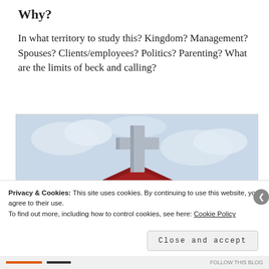Why?
In what territory to study this? Kingdom? Management? Spouses? Clients/employees? Politics? Parenting? What are the limits of beck and calling?
[Figure (photo): A white Christian cross mounted on top of a red-tiled church roof, photographed against a cloudy sky.]
Privacy & Cookies: This site uses cookies. By continuing to use this website, you agree to their use.
To find out more, including how to control cookies, see here: Cookie Policy
Close and accept